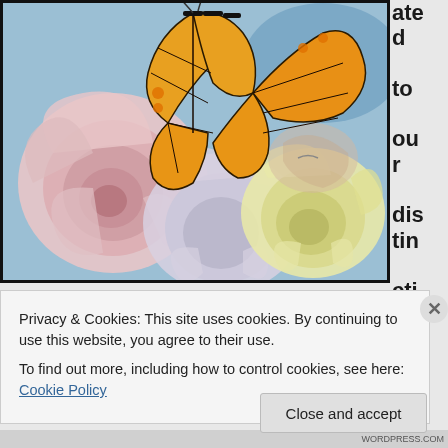[Figure (illustration): Color pencil illustration of roses (pink, white, yellow) with a monarch butterfly perched on top, against a blue background, with a sleeping face visible in the background.]
ated to our distinction of sta
Privacy & Cookies: This site uses cookies. By continuing to use this website, you agree to their use.
To find out more, including how to control cookies, see here: Cookie Policy